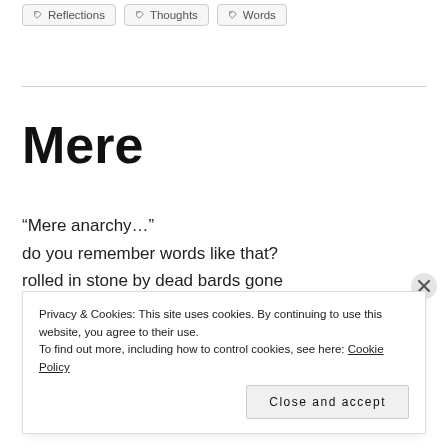Reflections
Thoughts
Words
Mere
“Mere anarchy…”
do you remember words like that?
rolled in stone by dead bards gone
many meanings piled high
Privacy & Cookies: This site uses cookies. By continuing to use this website, you agree to their use. To find out more, including how to control cookies, see here: Cookie Policy
Close and accept